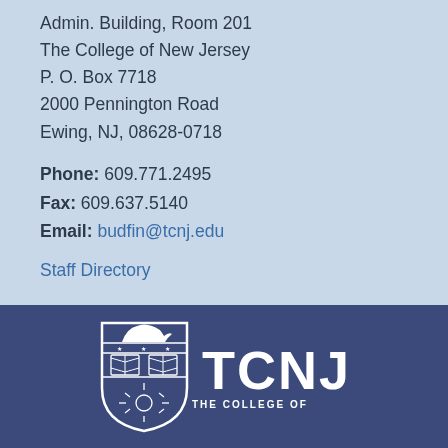Admin. Building, Room 201
The College of New Jersey
P. O. Box 7718
2000 Pennington Road
Ewing, NJ, 08628-0718
Phone: 609.771.2495
Fax: 609.637.5140
Email: budfin@tcnj.edu
Staff Directory
[Figure (logo): TCNJ - The College of New Jersey logo with shield crest and lion, white on dark navy background]